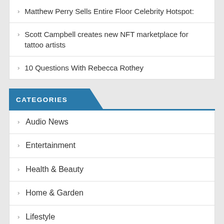Matthew Perry Sells Entire Floor Celebrity Hotspot:
Scott Campbell creates new NFT marketplace for tattoo artists
10 Questions With Rebecca Rothey
CATEGORIES
Audio News
Entertainment
Health & Beauty
Home & Garden
Lifestyle
Tech
Travel